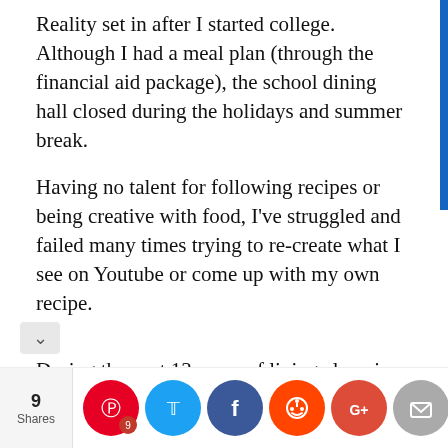Reality set in after I started college. Although I had a meal plan (through the financial aid package), the school dining hall closed during the holidays and summer break.
Having no talent for following recipes or being creative with food, I've struggled and failed many times trying to re-create what I see on Youtube or come up with my own recipe.
During the past 13 years of living alone in the US, I just don't dare to quantify the amount of food that's been wasted due to my failed culinary attempts.
Let's simplify the issue by assuming I waste $20 worth of food every month. It amounts to $240/year or
[Figure (infographic): Social sharing bar with share count (9 Shares) and icons for Pinterest (9), Twitter, Facebook, Reddit, Google+, Email, and Crown/Flipboard]